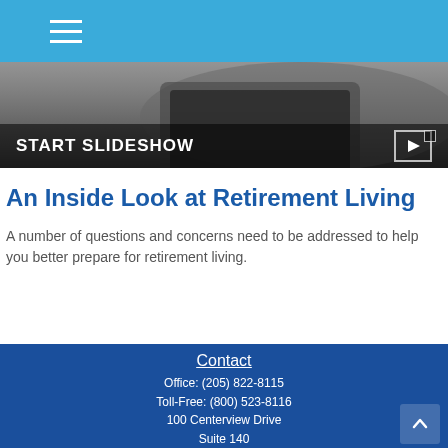Navigation menu header bar with hamburger icon
[Figure (screenshot): Slideshow banner with dark background showing a person using a laptop, with 'START SLIDESHOW' text overlay and play icon]
An Inside Look at Retirement Living
A number of questions and concerns need to be addressed to help you better prepare for retirement living.
Contact
Office: (205) 822-8115
Toll-Free: (800) 523-8116
100 Centerview Drive
Suite 140
Vestavia, AL 35216
dorothy.wozny@lpl.com